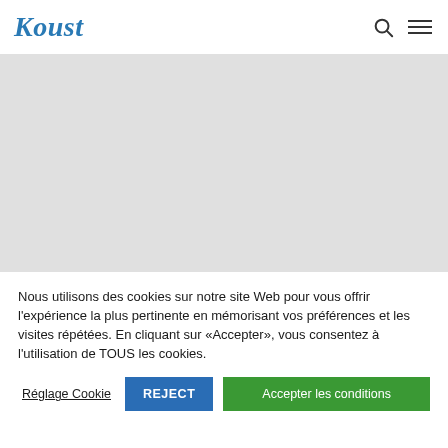Koust
[Figure (other): Gray placeholder image area below the navigation header]
Nous utilisons des cookies sur notre site Web pour vous offrir l'expérience la plus pertinente en mémorisant vos préférences et les visites répétées. En cliquant sur «Accepter», vous consentez à l'utilisation de TOUS les cookies.
Réglage Cookie
REJECT
Accepter les conditions